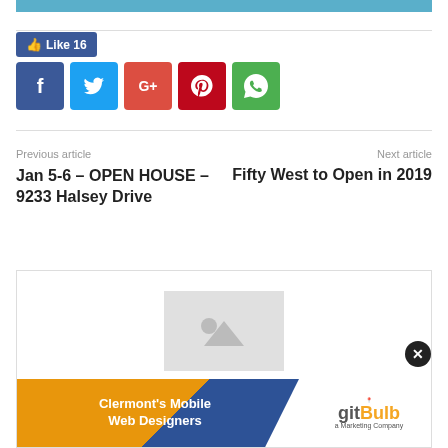[Figure (other): Blue header bar at top of page]
[Figure (other): Facebook Like button showing count 16]
[Figure (other): Social media sharing icons: Facebook, Twitter, Google+, Pinterest, WhatsApp]
Previous article
Next article
Jan 5-6 – OPEN HOUSE – 9233 Halsey Drive
Fifty West to Open in 2019
[Figure (other): Advertisement box with placeholder image and gitBulb banner - Clermont's Mobile Web Designers, a Marketing Company]